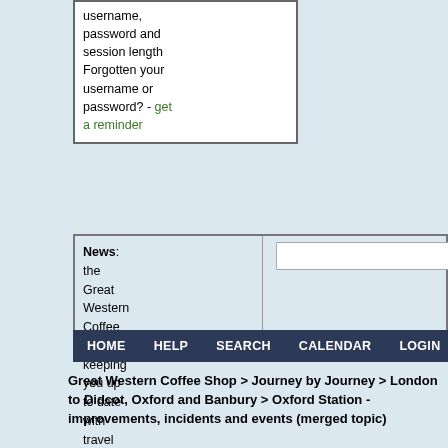username, password and session length Forgotten your username or password? - get a reminder
News: the Great Western Coffee Shop ... keeping you up to date with travel around the South West
[Figure (screenshot): Search bar with magnifying glass icon and Deep Search button]
HOME   HELP   SEARCH   CALENDAR   LOGIN   REGISTER
Great Western Coffee Shop > Journey by Journey > London to Didcot, Oxford and Banbury > Oxford Station - improvements, incidents and events (merged topic)